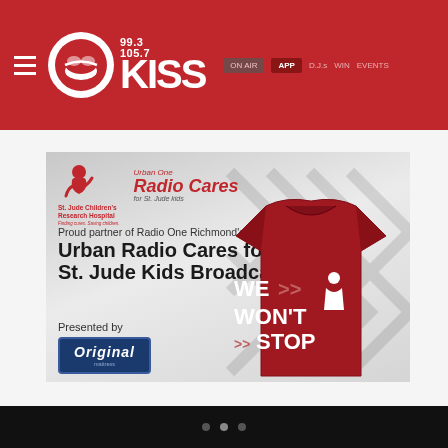99.3 / 105.7 KISS — Radio station website header
[Figure (screenshot): Promotional banner for Urban Radio Cares for St. Jude Kids Broadcast, presented by Original. Features St. Jude Children's Research Hospital logo, Urban One Radio Cares logo, headline text, and a red t-shirt with 'WE WON'T STOP' text.]
Carousel navigation dots